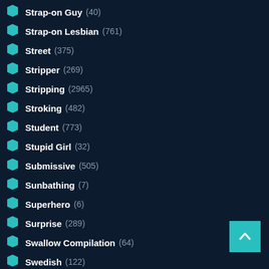Strap-on Guy (40)
Strap-on Lesbian (761)
Street (375)
Stripper (269)
Stripping (2965)
Stroking (482)
Student (773)
Stupid Girl (32)
Submissive (505)
Sunbathing (7)
Superhero (6)
Surprise (289)
Swallow Compilation (64)
Swedish (122)
Swimming (156)
Swimsuit (167)
Swinger (903)
Swiss (40)